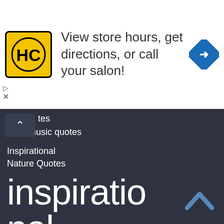[Figure (infographic): Advertisement banner for a hair salon chain (HC logo in yellow circle with black border) with text 'View store hours, get directions, or call your salon!' and a blue diamond direction arrow icon. Small play and X controls on the left side.]
tes
ional music quotes
Inspirational Nature Quotes
inspirational quotes
inspirational quotes about life inspirational quotes to live by
Inspirational Technology Quotes
inspirational videos